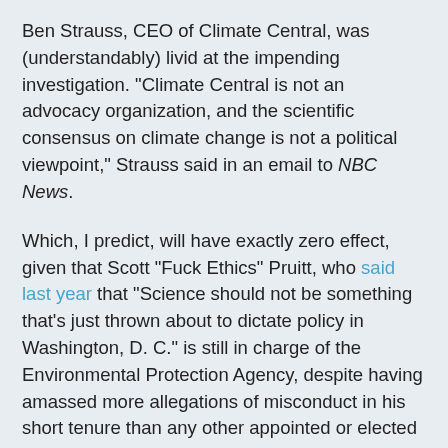Ben Strauss, CEO of Climate Central, was (understandably) livid at the impending investigation. "Climate Central is not an advocacy organization, and the scientific consensus on climate change is not a political viewpoint," Strauss said in an email to NBC News.
Which, I predict, will have exactly zero effect, given that Scott "Fuck Ethics" Pruitt, who said last year that "Science should not be something that's just thrown about to dictate policy in Washington, D. C." is still in charge of the Environmental Protection Agency, despite having amassed more allegations of misconduct in his short tenure than any other appointed or elected official I've ever seen.
So if we shouldn't use science, what should we use to dictate policy?  Astrology?  Divine inspiration?  Thoughts and prayers?
The anti-science bent goes all the way to the top, given that every time any science-related subject is brought up with Donald Trump, he gives evidence of having maxed out his